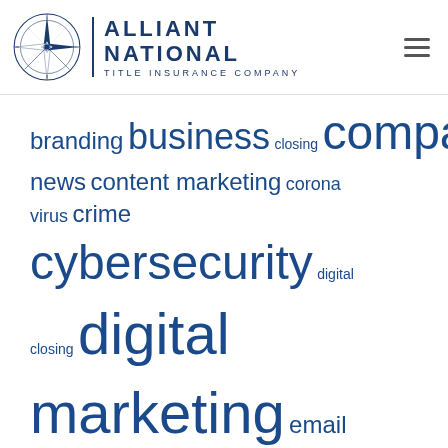[Figure (logo): Alliant National Title Insurance Company logo with compass rose and text]
[Figure (infographic): Tag cloud with various marketing and insurance related terms in varying font sizes, all in blue tones]